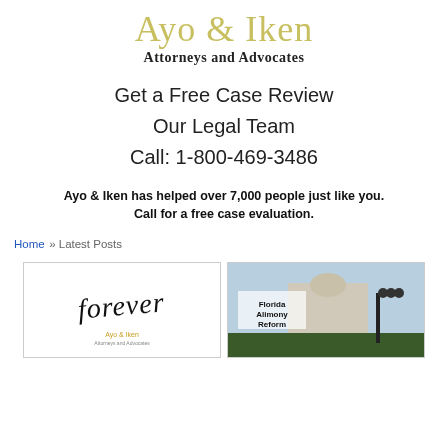[Figure (logo): Ayo & Iken logo with 'Attorneys and Advocates' subtitle in gold/black serif font]
Get a Free Case Review
Our Legal Team
Call: 1-800-469-3486
Ayo & Iken has helped over 7,000 people just like you. Call for a free case evaluation.
Home » Latest Posts
[Figure (photo): Image with cursive script 'forever' text and Ayo & Iken branding]
[Figure (photo): Florida Alimony Reform text overlaid on image of Florida capitol building]